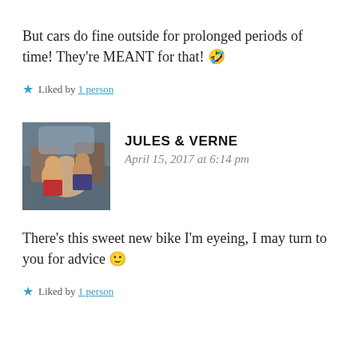But cars do fine outside for prolonged periods of time! They're MEANT for that! 🤣
★ Liked by 1 person
JULES & VERNE
April 15, 2017 at 6:14 pm
There's this sweet new bike I'm eyeing, I may turn to you for advice 🙂
★ Liked by 1 person